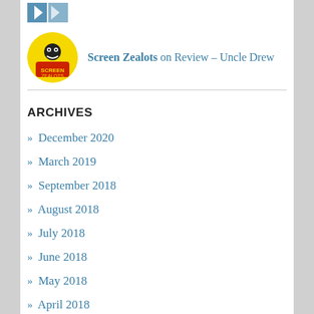[Figure (logo): Partial blue logo/icon visible at top]
Screen Zealots on Review – Uncle Drew
ARCHIVES
December 2020
March 2019
September 2018
August 2018
July 2018
June 2018
May 2018
April 2018
March 2018
February 2018